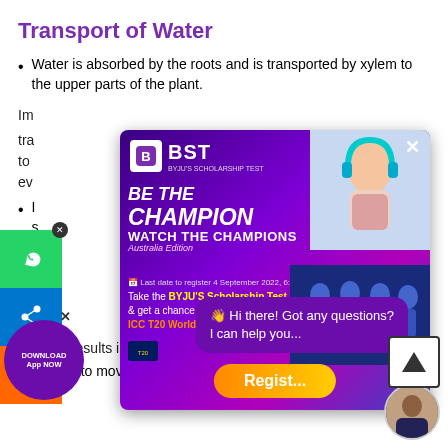Transport of Water
Water is absorbed by the roots and is transported by xylem to the upper parts of the plant.
[Figure (screenshot): BST BYJU'S Scholarship Test advertisement popup with 'Be The Champion, Watch The Champions' text, cricket world cup T20 Australia edition, register button, and photo of girl with headphones]
I... by the s...
O... e area c... d...
A... ocess
and this results in the difference of concentration of these ions.
It leads to movement of water, in the root cells, by osmosis.